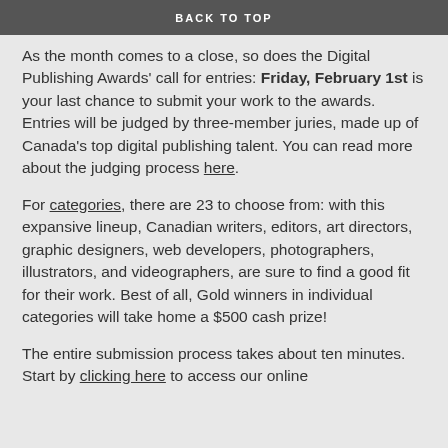BACK TO TOP
As the month comes to a close, so does the Digital Publishing Awards' call for entries: Friday, February 1st is your last chance to submit your work to the awards. Entries will be judged by three-member juries, made up of Canada's top digital publishing talent. You can read more about the judging process here.
For categories, there are 23 to choose from: with this expansive lineup, Canadian writers, editors, art directors, graphic designers, web developers, photographers, illustrators, and videographers, are sure to find a good fit for their work. Best of all, Gold winners in individual categories will take home a $500 cash prize!
The entire submission process takes about ten minutes. Start by clicking here to access our online